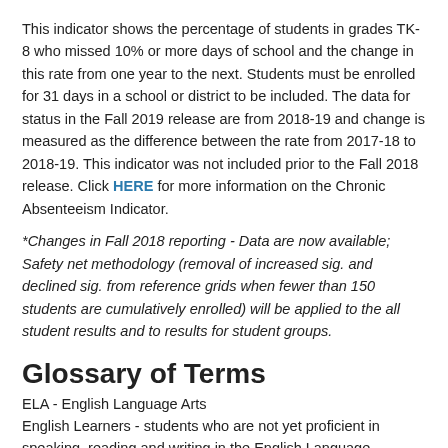This indicator shows the percentage of students in grades TK-8 who missed 10% or more days of school and the change in this rate from one year to the next. Students must be enrolled for 31 days in a school or district to be included. The data for status in the Fall 2019 release are from 2018-19 and change is measured as the difference between the rate from 2017-18 to 2018-19. This indicator was not included prior to the Fall 2018 release. Click HERE for more information on the Chronic Absenteeism Indicator.
*Changes in Fall 2018 reporting - Data are now available; Safety net methodology (removal of increased sig. and declined sig. from reference grids when fewer than 150 students are cumulatively enrolled) will be applied to the all student results and to results for student groups.
Glossary of Terms
ELA - English Language Arts
English Learners - students who are not yet proficient in speaking, reading and writing in the English Language
Socioeconomically disadvantaged/low income - students who fulfill either of the following criteria: neither parent has a high school